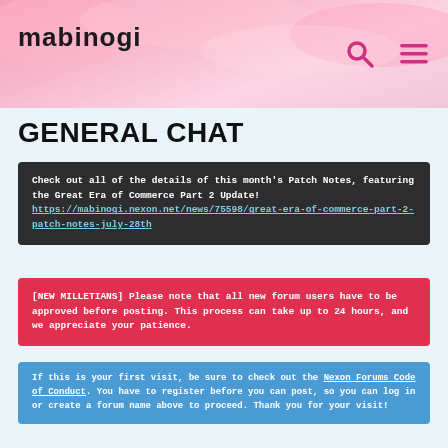mabinogi
GENERAL CHAT
Check out all of the details of this month's Patch Notes, featuring the Great Era of Commerce Part 2 Update! https://mabinogi.nexon.net/news/75598/great-era-of-commerce-part-2-patch-notes-july-28th
[NEW MILLETIANS] Please note that all new forum users have to be approved before posting. This process can take up to 24 hours, and we appreciate your patience.
If this is your first visit, be sure to check out the Nexon Forums Code of Conduct. You have to register before you can post, so you can log in or create a forum name above to proceed. Thank you for your visit!
Confirmed ; G21 this winter (kr)
Member